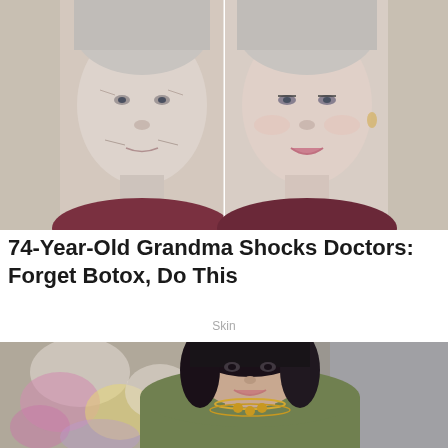[Figure (photo): Before and after side-by-side photos of an elderly woman with white/grey hair. Left shows her with more wrinkles and no makeup; right shows her smiling with makeup applied, looking more youthful.]
74-Year-Old Grandma Shocks Doctors: Forget Botox, Do This
Skin
[Figure (photo): A middle-aged woman with short dark hair, wearing an olive green top and layered gold necklaces, smiling in front of a colorful floral painting background.]